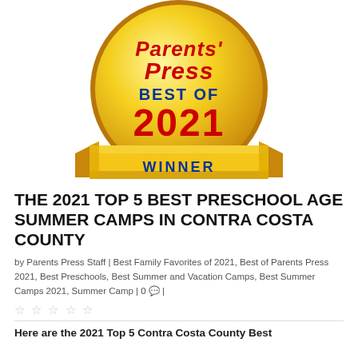[Figure (illustration): Parents' Press Best of 2021 Winner award medal — a gold circular medallion with red italic text 'Parents' Press', blue bold text 'BEST OF', and large red text '2021', with a gold ribbon banner below reading 'WINNER' in blue bold text.]
THE 2021 TOP 5 BEST PRESCHOOL AGE SUMMER CAMPS IN CONTRA COSTA COUNTY
by Parents Press Staff | Best Family Favorites of 2021, Best of Parents Press 2021, Best Preschools, Best Summer and Vacation Camps, Best Summer Camps 2021, Summer Camp | 0 💬 |
☆☆☆☆☆
Here are the 2021 Top 5 Contra Costa County Best